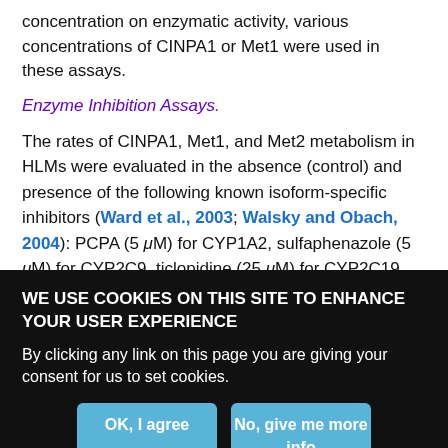concentration on enzymatic activity, various concentrations of CINPA1 or Met1 were used in these assays.
Enzyme Inhibition Assays.
The rates of CINPA1, Met1, and Met2 metabolism in HLMs were evaluated in the absence (control) and presence of the following known isoform-specific inhibitors (Ward et al., 2003; Walsky and Obach, 2004): PCPA (5 μM) for CYP1A2, sulfaphenazole (5 μM) for CYP2C9, ticlopidine (25 μM) for CYP2C19, quinidine (10 μM) for CYP2D6, ketoconazole (5 μM) for CYP3A4, quercetin (25 μM) for CYP2C8, thioTEPA (25 μM) for CYP2B6, and BNPP (250 μM) for
WE USE COOKIES ON THIS SITE TO ENHANCE YOUR USER EXPERIENCE
By clicking any link on this page you are giving your consent for us to set cookies.
OK, I agree
No, give me more info